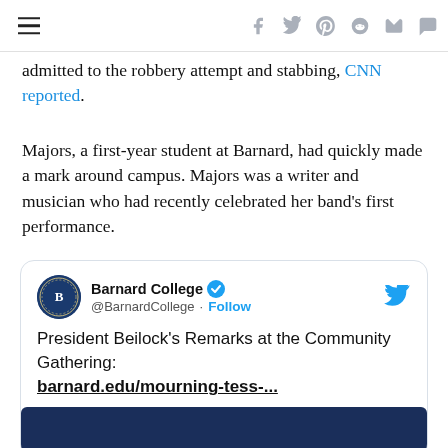Navigation and social share icons
admitted to the robbery attempt and stabbing, CNN reported.
Majors, a first-year student at Barnard, had quickly made a mark around campus. Majors was a writer and musician who had recently celebrated her band’s first performance.
[Figure (screenshot): Embedded tweet from @BarnardCollege (Barnard College, verified account). Tweet reads: President Beilock's Remarks at the Community Gathering: barnard.edu/mourning-tess-... with a dark blue image preview at bottom.]